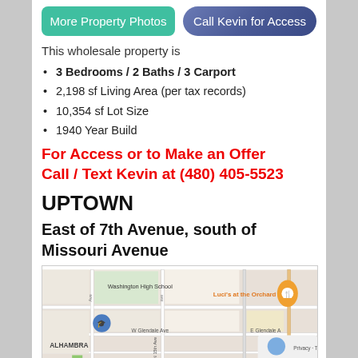[Figure (other): Green button: More Property Photos]
[Figure (other): Blue/purple pill button: Call Kevin for Access]
This wholesale property is
3 Bedrooms / 2 Baths / 3 Carport
2,198 sf Living Area (per tax records)
10,354 sf Lot Size
1940 Year Build
For Access or to Make an Offer Call / Text Kevin at (480) 405-5523
UPTOWN
East of 7th Avenue, south of Missouri Avenue
[Figure (map): Google Maps screenshot showing area near Washington High School, Luci's at the Orchard, W Glendale Ave, E Glendale Ave, N 15th Ave, ALHAMBRA neighborhood]